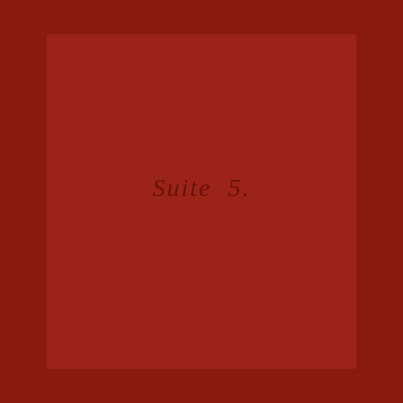[Figure (illustration): A deep red/crimson cover page with a slightly lighter red rectangular panel centered on the page. The text 'Suite 5' appears in a serif italic font in the upper-center area of the lighter red rectangle, rendered in a dark crimson tone slightly darker than the background.]
Suite 5